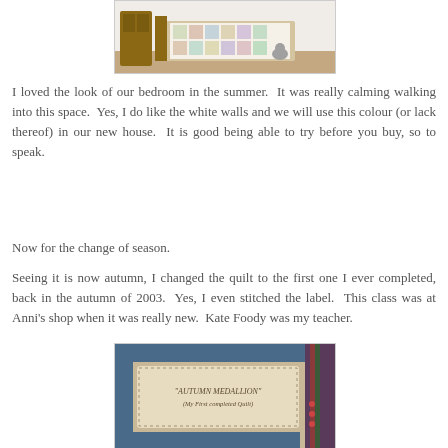[Figure (photo): Photo of a bedroom with a patterned quilt on the bed and wooden furniture]
I loved the look of our bedroom in the summer.  It was really calming walking into this space.  Yes, I do like the white walls and we will use this colour (or lack thereof) in our new house.  It is good being able to try before you buy, so to speak.
Now for the change of season.
Seeing it is now autumn, I changed the quilt to the first one I ever completed, back in the autumn of 2003.  Yes, I even stitched the label.  This class was at Anni's shop when it was really new.  Kate Foody was my teacher.
[Figure (photo): Close-up photo of a quilt label reading 'AUTUMN MEDALLION' (My First completed Quilt) with blue border fabric]